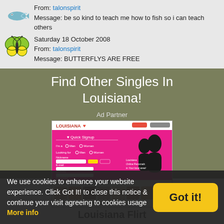From: talonspirit
Message: be so kind to teach me how to fish so i can teach others
Saturday 18 October 2008
From: talonspirit
Message: BUTTERFLYS ARE FREE
Find Other Singles In Louisiana!
Ad Partner
[Figure (screenshot): Louisiana Flirt dating website screenshot showing Quick Signup form, silhouette of couple, and featured member photos]
Louisiana Flirt
We use cookies to enhance your website experience. Click Got It! to close this notice & continue your visit agreeing to cookies usage More info